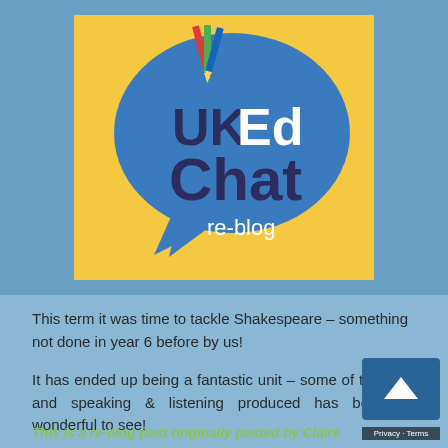[Figure (logo): UKEdChat re-blog logo: a blue speech bubble with 'UKEd Chat re-blog' text on a yellow/gold square background, with pencils illustration at top]
This term it was time to tackle Shakespeare – something not done in year 6 before by us!
It has ended up being a fantastic unit – some of the writing and speaking & listening produced has been truly wonderful to see!
This is a re-blog post originally posted by Claire